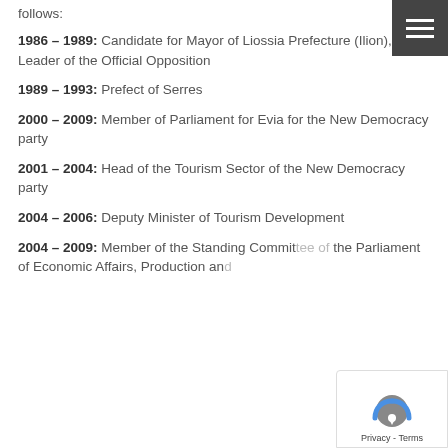follows:
1986 – 1989: Candidate for Mayor of Liossia Prefecture (Ilion), Leader of the Official Opposition
1989 – 1993: Prefect of Serres
2000 – 2009: Member of Parliament for Evia for the New Democracy party
2001 – 2004: Head of the Tourism Sector of the New Democracy party
2004 – 2006: Deputy Minister of Tourism Development
2004 – 2009: Member of the Standing Committee of the Parliament of Economic Affairs, Production and